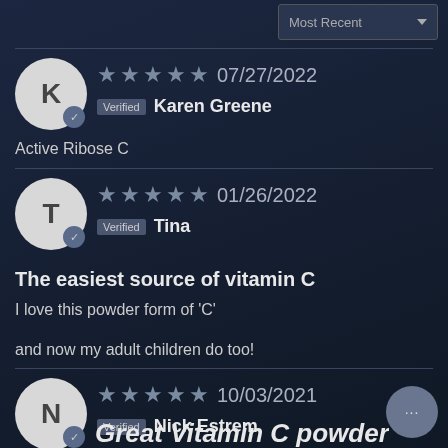Most Recent ▼
★★★★★ 07/27/2022 Verified Karen Greene Active Ribose C
★★★★★ 01/26/2022 Verified Tina
The easiest source of vitamin C
I love this powder form of 'C'

and now my adult children do too!
★★★★★ 10/03/2021 Verified Nick Estrem
Great Vitamin C powder